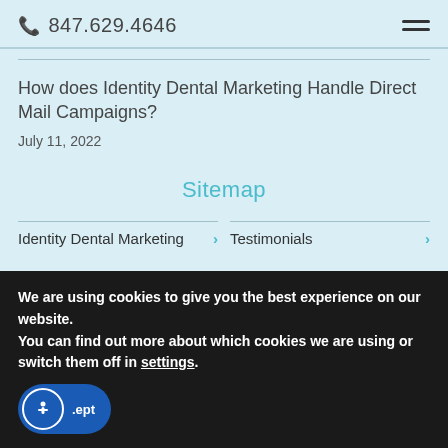847.629.4646
How does Identity Dental Marketing Handle Direct Mail Campaigns?
July 11, 2022
Sitemap
Identity Dental Marketing ›
Testimonials ›
We are using cookies to give you the best experience on our website.
You can find out more about which cookies we are using or switch them off in settings.
.ept